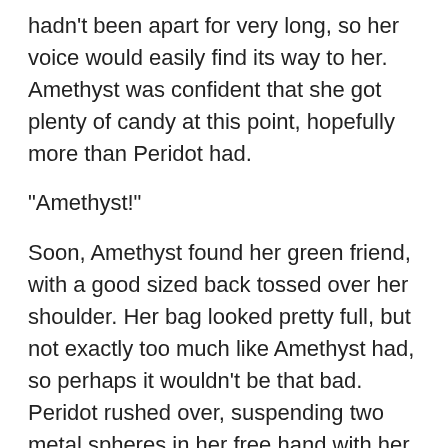hadn't been apart for very long, so her voice would easily find its way to her. Amethyst was confident that she got plenty of candy at this point, hopefully more than Peridot had.
"Amethyst!"
Soon, Amethyst found her green friend, with a good sized back tossed over her shoulder. Her bag looked pretty full, but not exactly too much like Amethyst had, so perhaps it wouldn't be that bad. Peridot rushed over, suspending two metal spheres in her free hand with her metal powers. She didn't forget she could do that, and liked to show it off somehow.
"K, Peridot, what do you got?" Amethyst asked, comparing bags. Amethyst showed off her goods, a lot